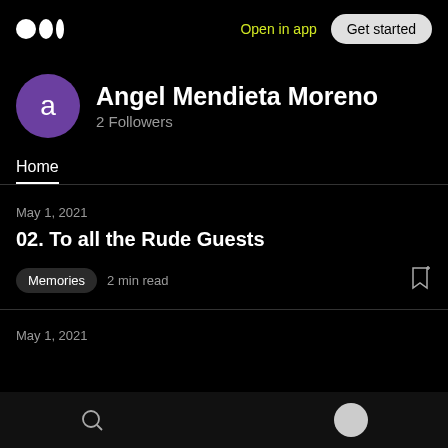Open in app  Get started
Angel Mendieta Moreno
2 Followers
Home
May 1, 2021
02. To all the Rude Guests
Memories  2 min read
May 1, 2021